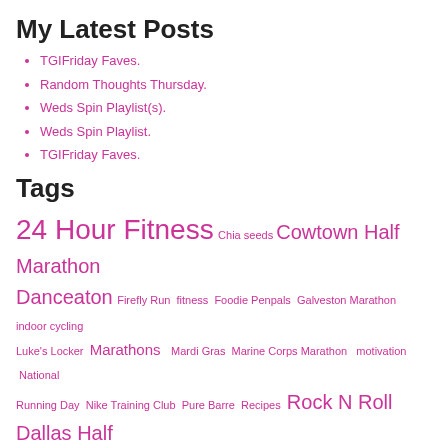My Latest Posts
TGIFriday Faves.
Random Thoughts Thursday.
Weds Spin Playlist(s).
Weds Spin Playlist.
TGIFriday Faves.
Tags
24 Hour Fitness Chia seeds Cowtown Half Marathon Danceaton Firefly Run fitness Foodie Penpals Galveston Marathon indoor cycling Luke's Locker Marathons Mardi Gras Marine Corps Marathon motivation National Running Day Nike Training Club Pure Barre Recipes Rock N Roll Dallas Half Marathon Running spin class TGIFriday Faves Tyler Rose Marathon